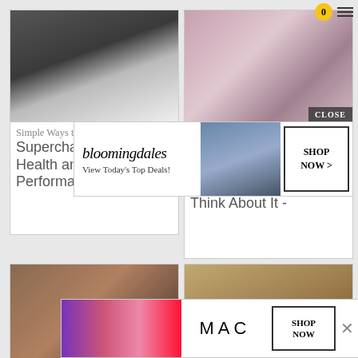[Figure (screenshot): App screenshot showing a health/wellness blog grid layout with article cards, overlaid by a Bloomingdales ad and MAC cosmetics ad.]
Simple Ways to Supercharge Brain Health and Mental Performance -
Dealing With Depression: 14 NEW Insights That Will Change the Way You Think About It -
The Easy Way to Restore...Neu...
Healing From...